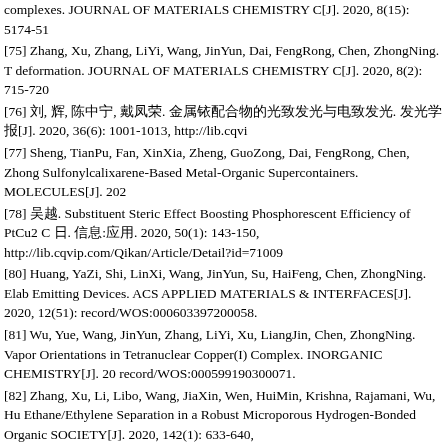complexes. JOURNAL OF MATERIALS CHEMISTRY C[J]. 2020, 8(15): 5174-51
[75] Zhang, Xu, Zhang, LiYi, Wang, JinYun, Dai, FengRong, Chen, ZhongNing. T deformation. JOURNAL OF MATERIALS CHEMISTRY C[J]. 2020, 8(2): 715-720
[76] 刘, 辉, 陈中宁, 戴凤荣. 金属铱配合物的光致发光与电致发光. 发光学报[J]. 2020, 36(6): 1001-1013, http://lib.cqvi
[77] Sheng, TianPu, Fan, XinXia, Zheng, GuoZong, Dai, FengRong, Chen, Zhong Sulfonylcalixarene-Based Metal-Organic Supercontainers. MOLECULES[J]. 202
[78] 吴越. Substituent Steric Effect Boosting Phosphorescent Efficiency of PtCu2 C 日. 信息:应用. 2020, 50(1): 143-150, http://lib.cqvip.com/Qikan/Article/Detail?id=71009
[80] Huang, YaZi, Shi, LinXi, Wang, JinYun, Su, HaiFeng, Chen, ZhongNing. Elab Emitting Devices. ACS APPLIED MATERIALS & INTERFACES[J]. 2020, 12(51): record/WOS:000603397200058.
[81] Wu, Yue, Wang, JinYun, Zhang, LiYi, Xu, LiangJin, Chen, ZhongNing. Vapor Orientations in Tetranuclear Copper(I) Complex. INORGANIC CHEMISTRY[J]. 20 record/WOS:000599190300071.
[82] Zhang, Xu, Li, Libo, Wang, JiaXin, Wen, HuiMin, Krishna, Rajamani, Wu, Hu Ethane/Ethylene Separation in a Robust Microporous Hydrogen-Bonded Organic SOCIETY[J]. 2020, 142(1): 633-640, https://www.webofscience.com/wos/woscc/
[83] Zhang, ZiYou, Su, Yan, Shi, LinXi, Li, ShuFang, Fabunmi, Florence, Li, Shun Dissolution-Recrystallization Structural Transformation with the Expansion of Cup 13334, https://www.webofscience.com/wos/woscc/full-record/WOS:00057502800
[84] Duan, Ping, Liu, Junyang, Wang, JinYun, Qu, Kai, Cai, Shuning, Wang, Fei, Wenjing, Chen, ZhongNing. Enhancing single-molecule conductance of platinum